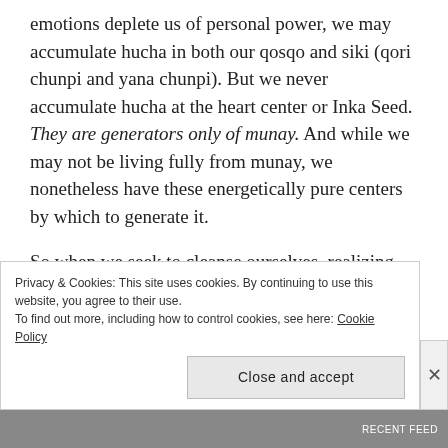emotions deplete us of personal power, we may accumulate hucha in both our qosqo and siki (qori chunpi and yana chunpi). But we never accumulate hucha at the heart center or Inka Seed. They are generators only of munay. And while we may not be living fully from munay, we nonetheless have these energetically pure centers by which to generate it.
So when we seek to cleanse ourselves–realizing that hucha is not bad or dirty but only kawsay that is slowed down–we must go to the centers where hucha accumulates, which in the case of emotions
Privacy & Cookies: This site uses cookies. By continuing to use this website, you agree to their use.
To find out more, including how to control cookies, see here: Cookie Policy
Close and accept
RECENT FEED